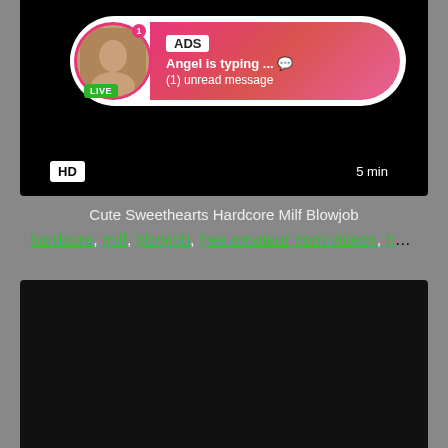[Figure (screenshot): Adult video thumbnail with ad overlay showing 'ADS Angel is typing... (1) unread message' bubble with LIVE badge, HD badge bottom-left, 5 min badge bottom-right]
Cute Sweethearts Hardcore Milf Blowjob
hardcore, milf, blowjob, free amateur porn videos, horny...
[Figure (screenshot): Black video thumbnail area]